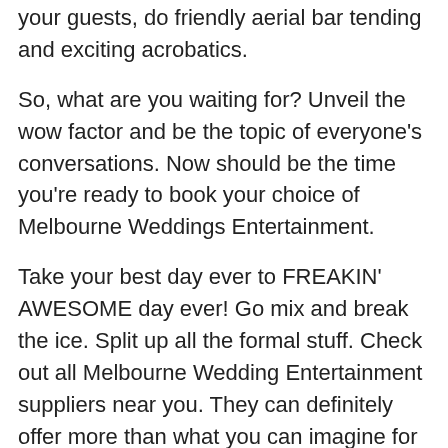your guests, do friendly aerial bar tending and exciting acrobatics.
So, what are you waiting for? Unveil the wow factor and be the topic of everyone’s conversations. Now should be the time you’re ready to book your choice of Melbourne Weddings Entertainment.
Take your best day ever to FREAKIN’ AWESOME day ever! Go mix and break the ice. Split up all the formal stuff. Check out all Melbourne Wedding Entertainment suppliers near you. They can definitely offer more than what you can imagine for your special day
Melbourne Entertainers – Melbourne Weddings Entertainment Directory – melbourneentertainers.com.au
Blog by Matt Jefferies Entertainment –